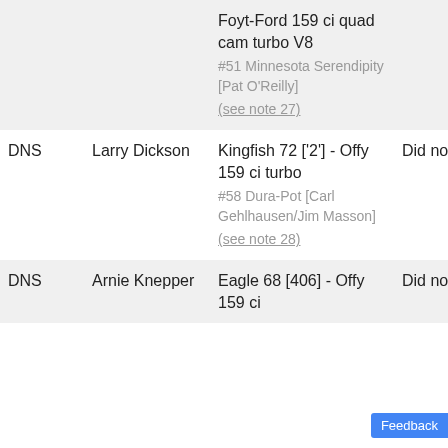| Position | Driver | Car | Result |
| --- | --- | --- | --- |
|  |  | Foyt-Ford 159 ci quad cam turbo V8
#51 Minnesota Serendipity [Pat O'Reilly]
(see note 27) |  |
| DNS | Larry Dickson | Kingfish 72 ['2'] - Offy 159 ci turbo
#58 Dura-Pot [Carl Gehlhausen/Jim Masson]
(see note 28) | Did not start |
| DNS | Arnie Knepper | Eagle 68 [406] - Offy 159 ci | Did not start |